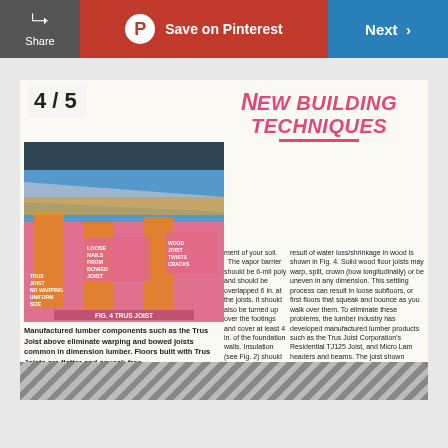Share | Save on Pinterest | Next >
4 / 5
New Building Techniques
[Figure (illustration): FIG. 4 TRUS JOIST - Illustration showing trus joist construction with labeled parts: LOOSE NAILS FROM BOWED JOIST, WOOD JOIST TWISTS CRACKS, TRUS JOIST NO WARPING UNIFORM SIZE]
Manufactured lumber components such as the Trus Joist above eliminate warping and bowed joists common in dimension lumber. Floors built with Trus Joists are flatter and squeak-free.
ent of your soil.
 The vapor barrier should be 6-mil poly and should be overlapped 6 in. at the joists. It should also be turned up over the footings and cover at least 4 in. of the foundation walls. Insulation (see Fig. 2) should cover the foundation wall including the band joist, and should hold the top edge of the vapor barrier in place. The vent dampers must be set so they close at 40° F and open at 70° F. (For information, send $1 to Western Wood Products Association, Dept. FH, 1500 Yeon Bldg., Portland, OR 97204.)
TRUS JOISTS
Grain direction and growth in trees varies, and cut lumber has a high moisture content that must be reduced to 8 to 10 percent before the wood becomes stable. A common
result of water loss/shrinkage in wood is shown in Fig. 4. Solid wood floor joists may warp, split, crown (bow longitudinally) or be uneven in any dimension. This settling process can result in loose subfloors, or first floors that squeak and bounce as you walk over them. To eliminate these problems, the lumber industry has developed manufactured lumber products such as the Trus Joist Corporation's Residential TJ125 Joist, and Micro Lam headers and beams. The joist shown consists of two dadoed 2x2s with a plywood web between them. The joists are lightweight, use less wood, are shrink and warp resistant and are available in lengths up to 60 ft. They are always straight and dimensionally uniform, as are other manufactured products such as roof trusses. (For information, write to Trus Joist Corp., Dept. FH, 9777 W. Chinden Blvd., P.O. Box 60, Boise, ID 83707.)
Pictures: Ron Chamberlain. Story artist: Mike Scott.
[Figure (photo): Striped bottom strip visible at bottom of page]